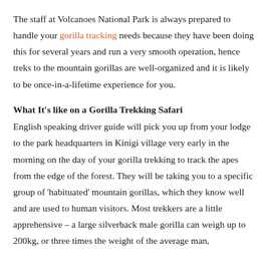The staff at Volcanoes National Park is always prepared to handle your gorilla tracking needs because they have been doing this for several years and run a very smooth operation, hence treks to the mountain gorillas are well-organized and it is likely to be once-in-a-lifetime experience for you.
What It's like on a Gorilla Trekking Safari
English speaking driver guide will pick you up from your lodge to the park headquarters in Kinigi village very early in the morning on the day of your gorilla trekking to track the apes from the edge of the forest. They will be taking you to a specific group of 'habituated' mountain gorillas, which they know well and are used to human visitors. Most trekkers are a little apprehensive – a large silverback male gorilla can weigh up to 200kg, or three times the weight of the average man,